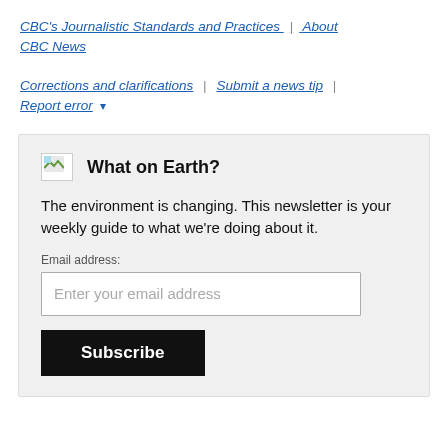CBC's Journalistic Standards and Practices | About CBC News
Corrections and clarifications | Submit a news tip | Report error ▾
What on Earth? The environment is changing. This newsletter is your weekly guide to what we're doing about it. Email address: [Enter your email address] Subscribe